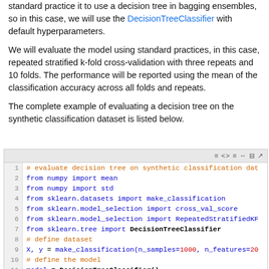standard practice is to use a decision tree in bagging ensembles, so in this case, we will use the DecisionTreeClassifier with default hyperparameters.
We will evaluate the model using standard practices, in this case, repeated stratified k-fold cross-validation with three repeats and 10 folds. The performance will be reported using the mean of the classification accuracy across all folds and repeats.
The complete example of evaluating a decision tree on the synthetic classification dataset is listed below.
[Figure (screenshot): Code block showing Python code to evaluate a decision tree on a synthetic classification dataset. Lines 1-11 shown, including imports from numpy, sklearn.datasets, sklearn.model_selection, sklearn.tree, and beginning of dataset/model definition.]